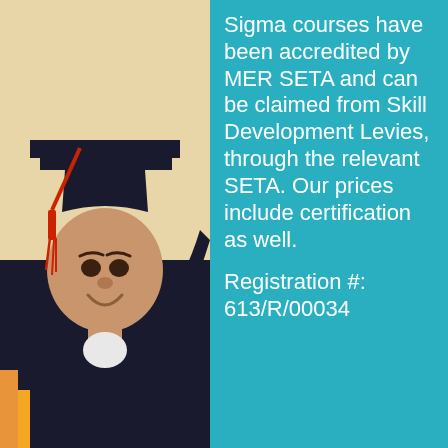[Figure (photo): A smiling young man in a black graduation cap and gown with a red tassel, photographed outdoors at a graduation ceremony.]
Sigma courses have been accredited by MER SETA and can be claimed from Skill Development Levies, through the relevant SETA. Our prices include certification as well.
Registration #: 613/R/00034